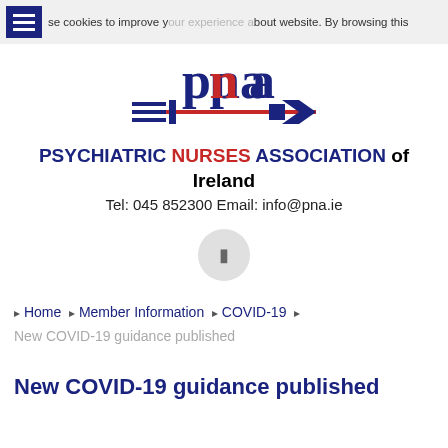use cookies to improve your experience about website. By browsing this
[Figure (logo): PNA (Psychiatric Nurses Association) logo with blue and red text and horizontal line with arrows/bars]
PSYCHIATRIC NURSES ASSOCIATION of Ireland
Tel: 045 852300 Email: info@pna.ie
[Figure (other): Gray circular button with a small icon/symbol inside]
Home > Member Information > COVID-19 > New COVID-19 guidance published
New COVID-19 guidance published